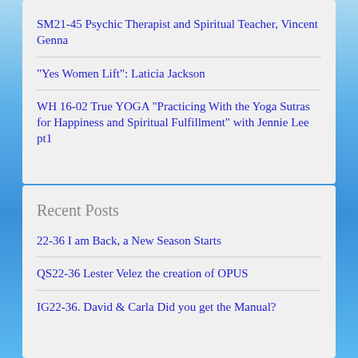SM21-45 Psychic Therapist and Spiritual Teacher, Vincent Genna
"Yes Women Lift": Laticia Jackson
WH 16-02 True YOGA "Practicing With the Yoga Sutras for Happiness and Spiritual Fulfillment" with Jennie Lee pt1
Recent Posts
22-36 I am Back, a New Season Starts
QS22-36 Lester Velez the creation of OPUS
IG22-36. David & Carla Did you get the Manual?